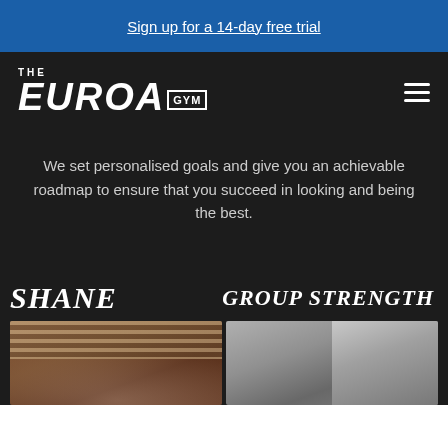Sign up for a 14-day free trial
[Figure (logo): The Euroa Gym logo — stylized text with THE in small caps, EUROA in large bold italic, GYM in a bordered box]
We set personalised goals and give you an achievable roadmap to ensure that you succeed in looking and being the best.
SHANE
GROUP STRENGTH
[Figure (photo): Before photo of Shane — man standing indoors with window blinds in background]
[Figure (photo): After photo of Shane — man standing in gym area showing transformation]